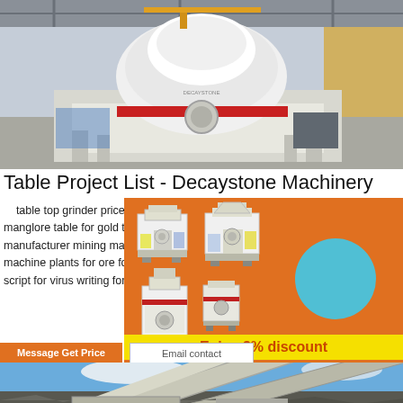[Figure (photo): Large industrial crusher/sand-making machine in a factory warehouse setting, white and red machine on a metal frame.]
Table Project List - Decaystone Machinery
table top grinder price list below rs 4000 ... manglore table for gold tantalum niobium ... sn manufacturer mining machine russel mineral ec machine plants for ore for sale sales of jaw of me script for virus writing for system gold ore extractio
[Figure (photo): Orange sidebar advertisement showing three industrial mining machines (crushers/grinders) with a cyan circle accent.]
[Figure (photo): Bottom photo of a demolition/construction scene with heavy machinery and rubble against a blue sky.]
Enjoy 3% discount
Click to Chat
Enquiry